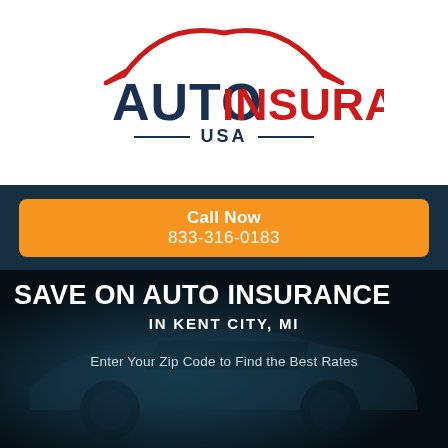[Figure (logo): Auto Insurance USA logo with red car arc and bold text: AUTO in navy bold, INSURANCE in red bold, USA centered below with flanking lines]
Call Now
833-316-0183
SAVE ON AUTO INSURANCE
IN KENT CITY, MI
Enter Your Zip Code to Find the Best Rates
ENTER YOUR ZIP CODE